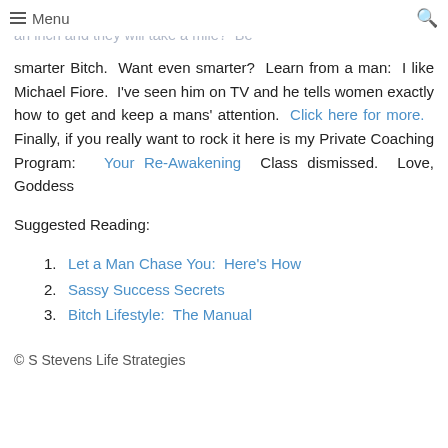Menu
but not in a way that irritates me!  You know the old saying...give an inch and they will take a mile?  Be smarter Bitch.  Want even smarter?  Learn from a man:  I like Michael Fiore.  I've seen him on TV and he tells women exactly how to get and keep a mans' attention.  Click here for more.   Finally, if you really want to rock it here is my Private Coaching Program:   Your Re-Awakening  Class dismissed.  Love, Goddess
Suggested Reading:
1. Let a Man Chase You:  Here's How
2. Sassy Success Secrets
3. Bitch Lifestyle:  The Manual
© S Stevens Life Strategies